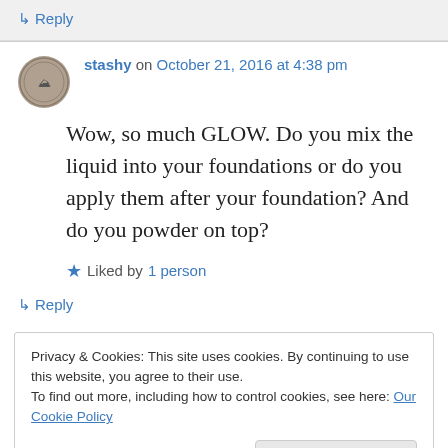↳ Reply
stashy on October 21, 2016 at 4:38 pm
Wow, so much GLOW. Do you mix the liquid into your foundations or do you apply them after your foundation? And do you powder on top?
Liked by 1 person
↳ Reply
Privacy & Cookies: This site uses cookies. By continuing to use this website, you agree to their use. To find out more, including how to control cookies, see here: Our Cookie Policy
Close and accept
apply that after foundation really just